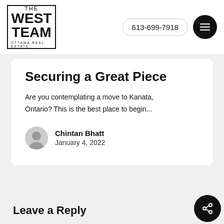[Figure (logo): The West Team Ottawa Real Estate logo — rectangular border containing THE WEST TEAM text with OTTAWA REAL ESTATE below]
613-699-7918
Securing a Great Piece
Are you contemplating a move to Kanata, Ontario? This is the best place to begin...
Chintan Bhatt
January 4, 2022
Leave a Reply